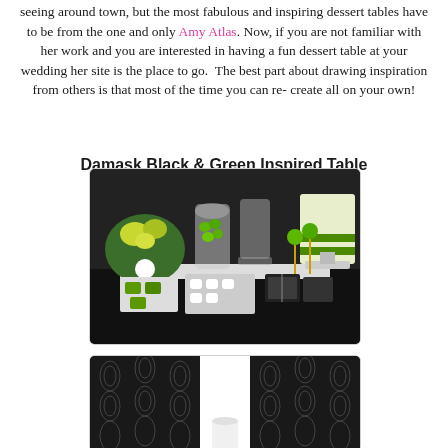seeing around town, but the most fabulous and inspiring dessert tables have to be from the one and only Amy Atlas. Now, if you are not familiar with her work and you are interested in having a fun dessert table at your wedding her site is the place to go.  The best part about drawing inspiration from others is that most of the time you can re-create all on your own!
Damask Black & Green Inspired Table
[Figure (photo): A dessert table styled in black and green damask theme with green candy jars, white cake pops, green cake pops, white marshmallows, green cookies, and a tiered white and green cake on a black tablecloth.]
[Figure (photo): A close-up view of a damask black and white patterned table runner with a white element visible in the center, part of the same themed dessert table setup.]